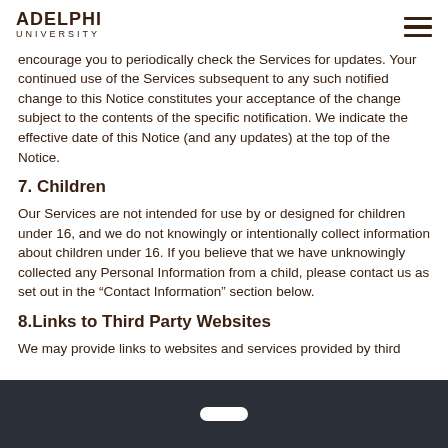ADELPHI UNIVERSITY
encourage you to periodically check the Services for updates. Your continued use of the Services subsequent to any such notified change to this Notice constitutes your acceptance of the change subject to the contents of the specific notification. We indicate the effective date of this Notice (and any updates) at the top of the Notice.
7. Children
Our Services are not intended for use by or designed for children under 16, and we do not knowingly or intentionally collect information about children under 16. If you believe that we have unknowingly collected any Personal Information from a child, please contact us as set out in the “Contact Information” section below.
8.Links to Third Party Websites
We may provide links to websites and services provided by third